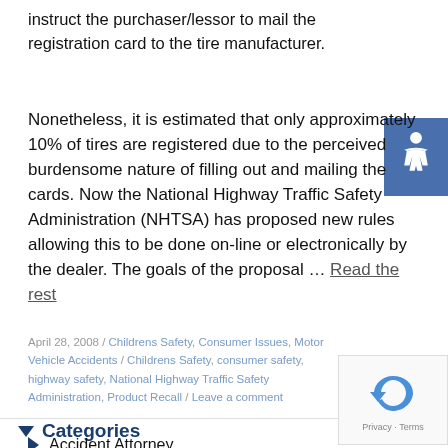instruct the purchaser/lessor to mail the registration card to the tire manufacturer.
Nonetheless, it is estimated that only approximately 10% of tires are registered due to the perceived burdensome nature of filling out and mailing the cards. Now the National Highway Traffic Safety Administration (NHTSA) has proposed new rules allowing this to be done on-line or electronically by the dealer. The goals of the proposal … Read the rest
April 28, 2008 / Childrens Safety, Consumer Issues, Motor Vehicle Accidents / Childrens Safety, consumer safety, highway safety, National Highway Traffic Safety Administration, Product Recall / Leave a comment
Categories
Accident Attorney